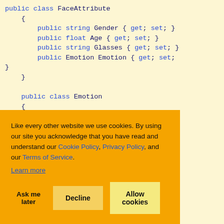[Figure (screenshot): Code editor screenshot showing C# classes FaceAttribute and Emotion with public properties. Background is pale yellow. Code includes public class FaceAttribute with properties Gender (string), Age (float), Glasses (string), Emotion (Emotion); and public class Emotion with properties Anger (float), Contempt (float), and several more partially visible. Keywords 'public', 'class', 'string', 'float' are in blue, identifiers in dark navy.]
Like every other website we use cookies. By using our site you acknowledge that you have read and understand our Cookie Policy, Privacy Policy, and our Terms of Service. Learn more